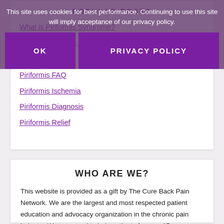POPULAR POSTS
This site uses cookies for best performance. Continuing to use this site will imply acceptance of our privacy policy.
What is Piriformis Syndrome?
Chronic Piriformis…
Piriformis…
Piriformis FAQ
Piriformis Ischemia
Piriformis Diagnosis
Piriformis Relief
WHO ARE WE?
This website is provided as a gift by The Cure Back Pain Network. We are the largest and most respected patient education and advocacy organization in the chronic pain industry. We are proud to help patients for over 15 years